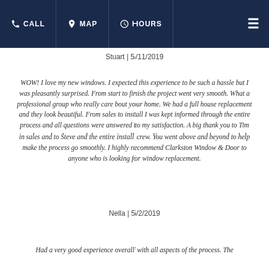CALL  MAP  HOURS
Stuart | 5/11/2019
WOW! I love my new windows. I expected this experience to be such a hassle but I was pleasantly surprised. From start to finish the project went very smooth. What a professional group who really care bout your home. We had a full house replacement and they look beautiful. From sales to install I was kept informed through the entire process and all questions were answered to my satisfaction. A big thank you to Tim in sales and to Steve and the entire install crew. You went above and beyond to help make the process go smoothly. I highly recommend Clarkston Window & Door to anyone who is looking for window replacement.
Nella | 5/2/2019
Had a very good experience overall with all aspects of the process. The